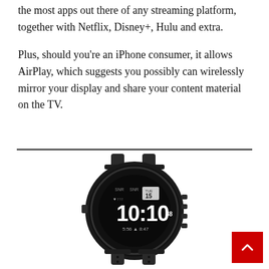the most apps out there of any streaming platform, together with Netflix, Disney+, Hulu and extra.
Plus, should you’re an iPhone consumer, it allows AirPlay, which suggests you possibly can wirelessly mirror your display and share your content material on the TV.
[Figure (photo): A dark Garmin Instinct GPS smartwatch with a black silicone band, displaying the time 10:10 on its digital screen, with date TUE 15 and stats 5:56 and 8:47 visible.]
[Figure (other): Red back-to-top button with a white upward-pointing chevron arrow in the bottom-right corner.]